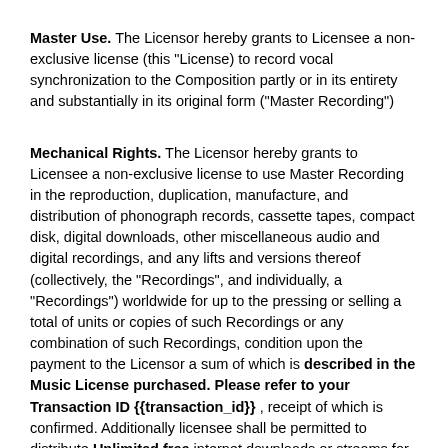Master Use. The Licensor hereby grants to Licensee a non-exclusive license (this "License) to record vocal synchronization to the Composition partly or in its entirety and substantially in its original form ("Master Recording")
Mechanical Rights. The Licensor hereby grants to Licensee a non-exclusive license to use Master Recording in the reproduction, duplication, manufacture, and distribution of phonograph records, cassette tapes, compact disk, digital downloads, other miscellaneous audio and digital recordings, and any lifts and versions thereof (collectively, the "Recordings", and individually, a "Recordings") worldwide for up to the pressing or selling a total of units or copies of such Recordings or any combination of such Recordings, condition upon the payment to the Licensor a sum of which is described in the Music License purchased. Please refer to your Transaction ID {{transaction_id}} , receipt of which is confirmed. Additionally licensee shall be permitted to distribute Unlimited free internet downloads or streams for non-profit and non-commercial use. This license allows up to purchased licensed amount described in, your Transaction ID